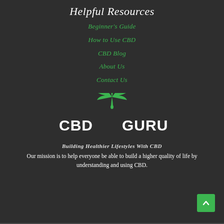Helpful Resources
Beginner's Guide
How to Use CBD
CBD Blog
About Us
Contact Us
[Figure (logo): CBD Guru logo with green cannabis leaf icon and white bold text reading CBD GURU]
Building Healthier Lifestyles With CBD
Our mission is to help everyone be able to build a higher quality of life by understanding and using CBD.